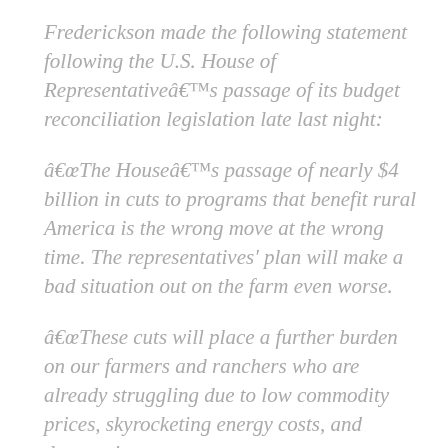Frederickson made the following statement following the U.S. House of Representativeâ€™s passage of its budget reconciliation legislation late last night:
â€œThe Houseâ€™s passage of nearly $4 billion in cuts to programs that benefit rural America is the wrong move at the wrong time. The representatives' plan will make a bad situation out on the farm even worse.
â€œThese cuts will place a further burden on our farmers and ranchers who are already struggling due to low commodity prices, skyrocketing energy costs, and devastating